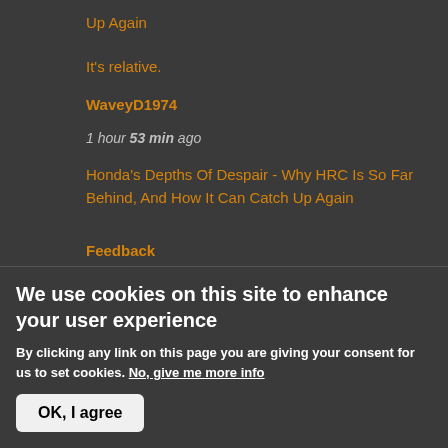Up Again
It's relative.
WaveyD1974
1 hour 53 min ago
Honda's Depths Of Despair - Why HRC Is So Far Behind, And How It Can Catch Up Again
Feedback
stumo
3 hours 39 min ago
Honda's Depths Of Despair - Why HRC Is So Far Behind, And How It Can Catch Up Again
more
We use cookies on this site to enhance your user experience
By clicking any link on this page you are giving your consent for us to set cookies. No, give me more info
OK, I agree